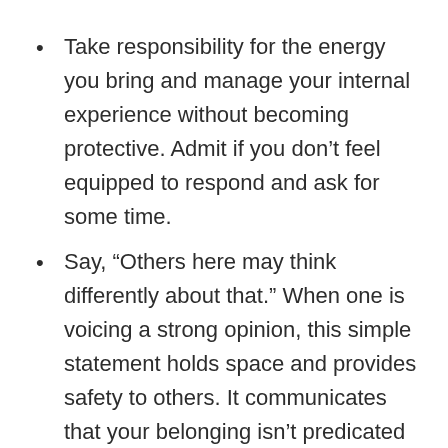Take responsibility for the energy you bring and manage your internal experience without becoming protective. Admit if you don't feel equipped to respond and ask for some time.
Say, “Others here may think differently about that.” When one is voicing a strong opinion, this simple statement holds space and provides safety to others. It communicates that your belonging isn’t predicated on alignment of thought.
Be attuned to reactions of the listeners. Are others becoming uncomfortable or